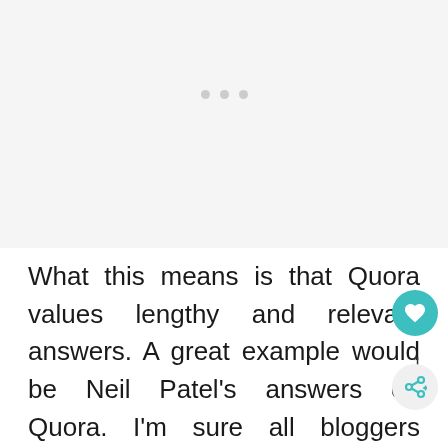[Figure (other): Light gray placeholder area with three small gray dots centered near the top, suggesting a loading or image placeholder region.]
What this means is that Quora values lengthy and relevant answers. A great example would be Neil Patel's answers on Quora. I'm sure all bloggers would have heard of him as he's one of the best out there. His